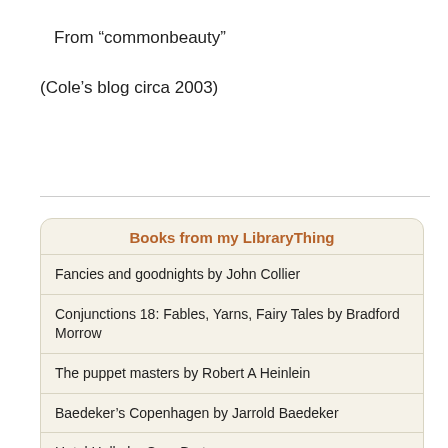From “commonbeauty”
(Cole’s blog circa 2003)
Books from my LibraryThing
Fancies and goodnights by John Collier
Conjunctions 18: Fables, Yarns, Fairy Tales by Bradford Morrow
The puppet masters by Robert A Heinlein
Baedeker’s Copenhagen by Jarrold Baedeker
Hotel Hello by Gary Burton
Powered by LibraryThing